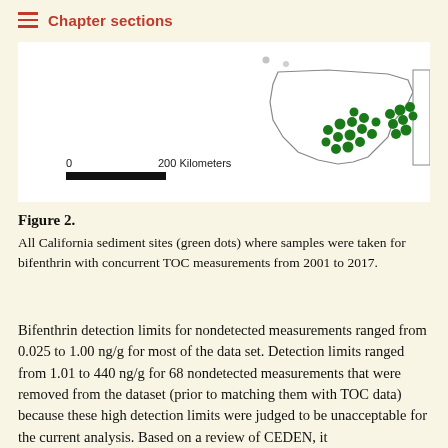Chapter sections
[Figure (map): Map showing California sediment sites (green dots) where bifenthrin samples with concurrent TOC measurements were taken from 2001 to 2017. Green dots are clustered in the southern portion of the state. A scale bar shows 0 to 200 Kilometers.]
Figure 2.
All California sediment sites (green dots) where samples were taken for bifenthrin with concurrent TOC measurements from 2001 to 2017.
Bifenthrin detection limits for nondetected measurements ranged from 0.025 to 1.00 ng/g for most of the data set. Detection limits ranged from 1.01 to 440 ng/g for 68 nondetected measurements that were removed from the dataset (prior to matching them with TOC data) because these high detection limits were judged to be unacceptable for the current analysis. Based on a review of CEDEN, it